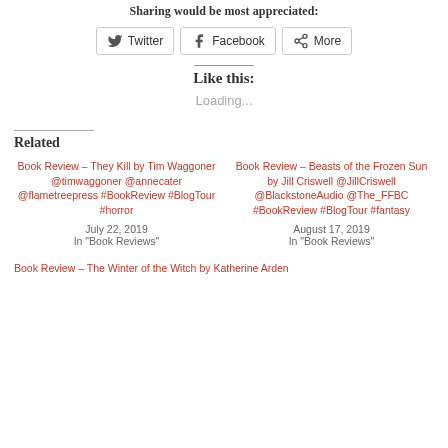Sharing would be most appreciated:
[Figure (other): Social sharing buttons: Twitter, Facebook, More]
Like this:
Loading...
Related
Book Review – They Kill by Tim Waggoner @timwaggoner @annecater @flametreepress #BookReview #BlogTour #horror
July 22, 2019
In "Book Reviews"
Book Review – Beasts of the Frozen Sun by Jill Criswell @JillCriswell @BlackstoneAudio @The_FFBC #BookReview #BlogTour #fantasy
August 17, 2019
In "Book Reviews"
Book Review – The Winter of the Witch by Katherine Arden